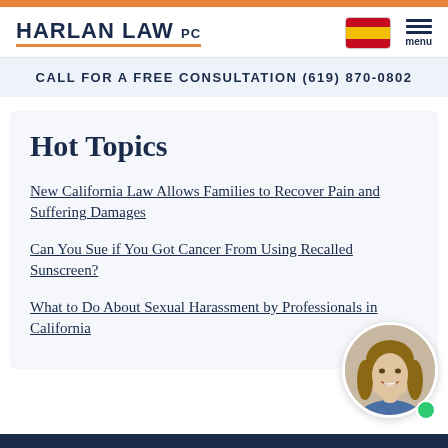Harlan Law PC
CALL FOR A FREE CONSULTATION (619) 870-0802
Hot Topics
New California Law Allows Families to Recover Pain and Suffering Damages
Can You Sue if You Got Cancer From Using Recalled Sunscreen?
What to Do About Sexual Harassment by Professionals in California
[Figure (photo): Circular headshot of a smiling woman with blonde hair, used as a chat/contact avatar in the bottom right corner]